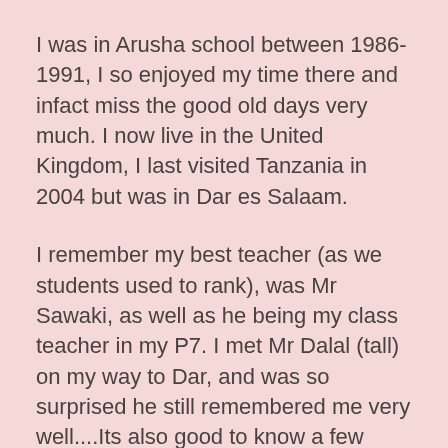I was in Arusha school between 1986-1991, I so enjoyed my time there and infact miss the good old days very much. I now live in the United Kingdom, I last visited Tanzania in 2004 but was in Dar es Salaam.
I remember my best teacher (as we students used to rank), was Mr Sawaki, as well as he being my class teacher in my P7. I met Mr Dalal (tall) on my way to Dar, and was so surprised he still remembered me very well....Its also good to know a few people like Ms Ngowi are still there, unfortunatly sad some past away, bless them!
I have but all in vain, been trying to get in